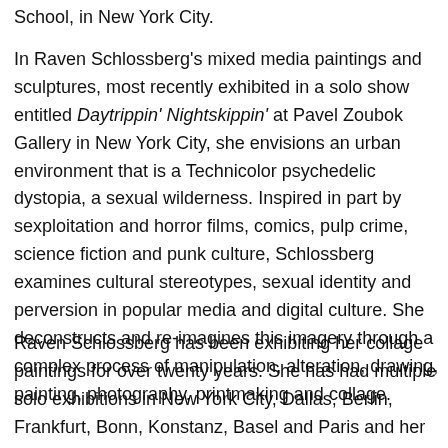School, in New York City.
In Raven Schlossberg's mixed media paintings and sculptures, most recently exhibited in a solo show entitled Daytrippin' Nightskippin' at Pavel Zoubok Gallery in New York City, she envisions an urban environment that is a Technicolor psychedelic dystopia, a sexual wilderness. Inspired in part by sexploitation and horror films, comics, pulp crime, science fiction and punk culture, Schlossberg examines cultural stereotypes, sexual identity and perversion in popular media and digital culture. She deconstructs and re-imagines this imagery through a complex process of manipulation, alteration, drawing, painting, photography, printmaking and collage.
Raven Schlossberg has been exhibiting her collage paintings for over twenty years. She has had multiple solo exhibitions in New York City, Dallas, Berlin, Frankfurt, Bonn, Konstanz, Basel and Paris and her shows include group exhibitions in New York City...